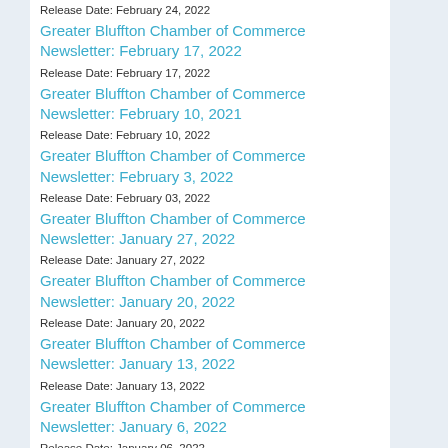Release Date: February 24, 2022
Greater Bluffton Chamber of Commerce Newsletter: February 17, 2022
Release Date: February 17, 2022
Greater Bluffton Chamber of Commerce Newsletter: February 10, 2021
Release Date: February 10, 2022
Greater Bluffton Chamber of Commerce Newsletter: February 3, 2022
Release Date: February 03, 2022
Greater Bluffton Chamber of Commerce Newsletter: January 27, 2022
Release Date: January 27, 2022
Greater Bluffton Chamber of Commerce Newsletter: January 20, 2022
Release Date: January 20, 2022
Greater Bluffton Chamber of Commerce Newsletter: January 13, 2022
Release Date: January 13, 2022
Greater Bluffton Chamber of Commerce Newsletter: January 6, 2022
Release Date: January 06, 2022
Greater Bluffton Chamber of Commerce